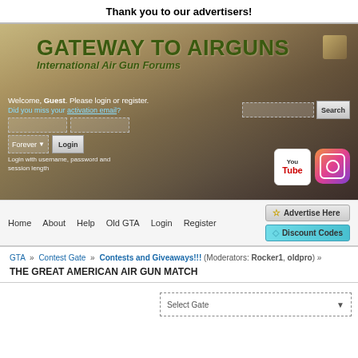Thank you to our advertisers!
[Figure (screenshot): Gateway to Airguns website banner with background desert/range scene, showing logo 'GATEWAY TO AIRGUNS International Air Gun Forums', login form with username/password fields, Forever dropdown, Login button, search bar, YouTube and Instagram social icons]
Welcome, Guest. Please login or register. Did you miss your activation email?
Login with username, password and session length
Home   About   Help   Old GTA   Login   Register
Advertise Here
Discount Codes
GTA » Contest Gate » Contests and Giveaways!!! (Moderators: Rocker1, oldpro) »
THE GREAT AMERICAN AIR GUN MATCH
Select Gate